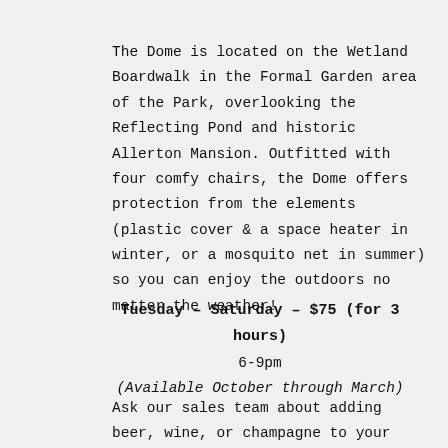The Dome is located on the Wetland Boardwalk in the Formal Garden area of the Park, overlooking the Reflecting Pond and historic Allerton Mansion. Outfitted with four comfy chairs, the Dome offers protection from the elements (plastic cover & a space heater in winter, or a mosquito net in summer) so you can enjoy the outdoors no matter the weather!
Tuesday – Saturday – $75 (for 3 hours)
6-9pm
(Available October through March)
Ask our sales team about adding beer, wine, or champagne to your reservation! You're also